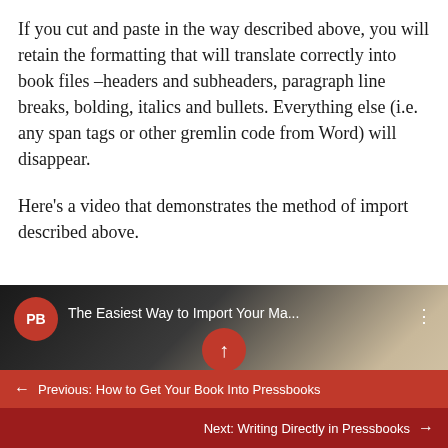If you cut and paste in the way described above, you will retain the formatting that will translate correctly into book files –headers and subheaders, paragraph line breaks, bolding, italics and bullets. Everything else (i.e. any span tags or other gremlin code from Word) will disappear.
Here's a video that demonstrates the method of import described above.
[Figure (screenshot): YouTube video thumbnail showing the Pressbooks (PB) logo in a red circle, video title 'The Easiest Way to Import Your Ma...' with three-dot menu, a red circular play/upload button in the center, and 'hapter I' text visible in red italic on the right side of a dark background.]
← Previous: How to Get Your Book Into Pressbooks
Next: Writing Directly in Pressbooks →